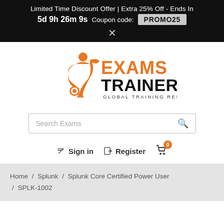Limited Time Discount Offer | Extra 25% Off - Ends In 5d 9h 26m 9s  Coupon code: PROMO25 ×
[Figure (logo): Exams Trainer - Global Training Resource logo with orange figure and text]
Search Exams
Sign in  Register  0
Home / Splunk / Splunk Core Certified Power User / SPLK-1002